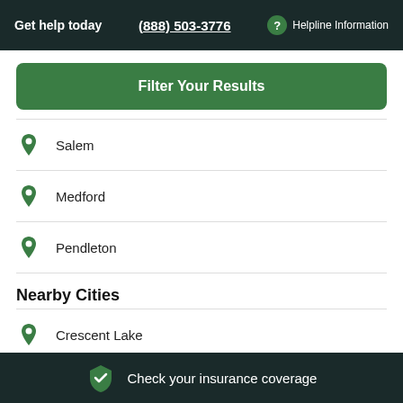Get help today  (888) 503-3776  Helpline Information
Filter Your Results
Salem
Medford
Pendleton
Nearby Cities
Crescent Lake
Check your insurance coverage